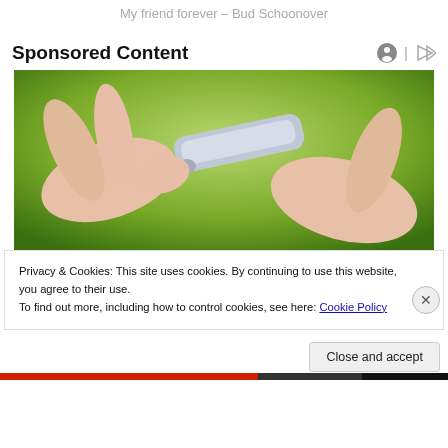My friend forever – Bud Schoonover
Sponsored Content
[Figure (photo): Close-up photo of a hand holding a silver tube or pen-like device being pressed against a fingertip, with a green blurred background.]
Privacy & Cookies: This site uses cookies. By continuing to use this website, you agree to their use.
To find out more, including how to control cookies, see here: Cookie Policy
Close and accept